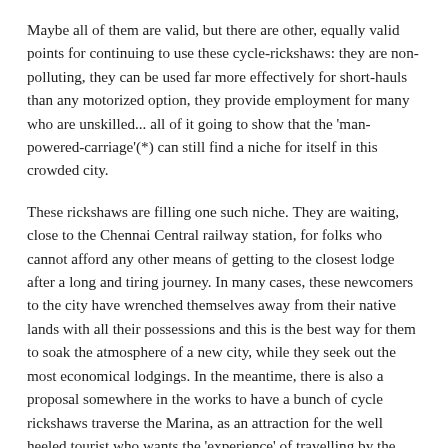Maybe all of them are valid, but there are other, equally valid points for continuing to use these cycle-rickshaws: they are non-polluting, they can be used far more effectively for short-hauls than any motorized option, they provide employment for many who are unskilled... all of it going to show that the 'man-powered-carriage'(*) can still find a niche for itself in this crowded city.
These rickshaws are filling one such niche. They are waiting, close to the Chennai Central railway station, for folks who cannot afford any other means of getting to the closest lodge after a long and tiring journey. In many cases, these newcomers to the city have wrenched themselves away from their native lands with all their possessions and this is the best way for them to soak the atmosphere of a new city, while they seek out the most economical lodgings. In the meantime, there is also a proposal somewhere in the works to have a bunch of cycle rickshaws traverse the Marina, as an attraction for the well heeled tourist who wants the 'experience' of travelling by the rickshaw!
[Figure (photo): A street scene near Chennai Central railway station showing multi-story buildings with shops, including a blue-fronted shop on the right, with a busy street and people visible at the bottom.]